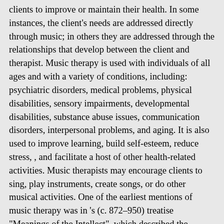clients to improve or maintain their health. In some instances, the client's needs are addressed directly through music; in others they are addressed through the relationships that develop between the client and therapist. Music therapy is used with individuals of all ages and with a variety of conditions, including: psychiatric disorders, medical problems, physical disabilities, sensory impairments, developmental disabilities, substance abuse issues, communication disorders, interpersonal problems, and aging. It is also used to improve learning, build self-esteem, reduce stress, , and facilitate a host of other health-related activities. Music therapists may encourage clients to sing, play instruments, create songs, or do other musical activities. One of the earliest mentions of music therapy was in 's (c. 872–950) treatise "Meanings of the Intellect", which described the therapeutic effects of music on the . Music has long been used to help people deal with their emotions. In the 17th century, the scholar 's ' argued that music and dance were critical in treating , especially . He noted that music has an "excellent power ...to expel many other diseases" and he called it "a sovereign remedy against despair and melancholy." He pointed out that in Antiquity, Canus, a Rhodian fiddler, used music to "make a melancholy man merry... a lover more